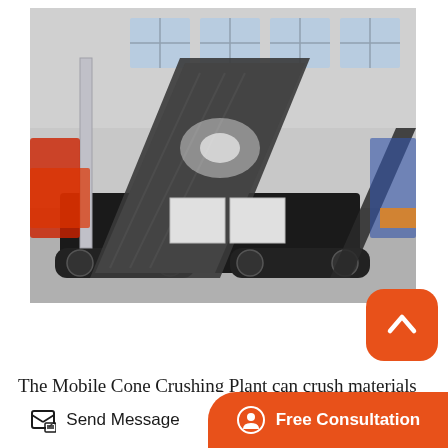[Figure (photo): A large mobile cone crushing plant/machine inside an industrial warehouse. The machine is black and mounted on tracks, with a large diagonal conveyor belt and various mechanical components visible. The warehouse has multiple windows and natural lighting.]
The Mobile Cone Crushing Plant can crush materials on site or somewhere near the work site.The Mobile Cone Crushing Plant is widely used in the industry of mining, metallurgy, building materials, traffic, water conservancy facilities and so on. Product Description Mobile
[Figure (other): Orange rounded-square button with a white upward chevron/caret arrow icon]